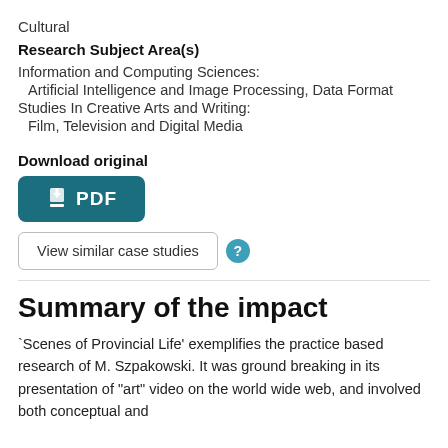Cultural
Research Subject Area(s)
Information and Computing Sciences:
Artificial Intelligence and Image Processing, Data Format
Studies In Creative Arts and Writing:
Film, Television and Digital Media
Download original
[Figure (other): PDF download button with download icon and text 'PDF']
[Figure (other): Button labeled 'View similar case studies' with a help/question mark icon]
Summary of the impact
`Scenes of Provincial Life' exemplifies the practice based research of M. Szpakowski. It was ground breaking in its presentation of "art" video on the world wide web, and involved both conceptual and